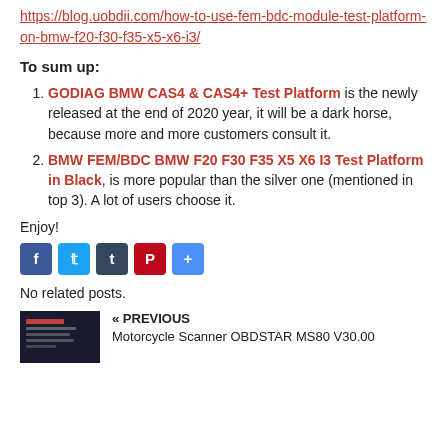https://blog.uobdii.com/how-to-use-fem-bdc-module-test-platform-on-bmw-f20-f30-f35-x5-x6-i3/
To sum up:
GODIAG BMW CAS4 & CAS4+ Test Platform is the newly released at the end of 2020 year, it will be a dark horse, because more and more customers consult it.
BMW FEM/BDC BMW F20 F30 F35 X5 X6 I3 Test Platform in Black, is more popular than the silver one (mentioned in top 3). A lot of users choose it.
Enjoy!
[Figure (infographic): Social sharing icons: Facebook, Twitter, Tumblr, Pinterest, Share]
No related posts.
« PREVIOUS
Motorcycle Scanner OBDSTAR MS80 V30.00